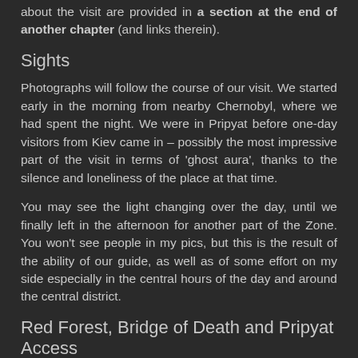about the visit are provided in a section at the end of another chapter (and links therein).
Sights
Photographs will follow the course of our visit. We started early in the morning from nearby Chernobyl, where we had spent the night. We were in Pripyat before one-day visitors from Kiev came in – possibly the most impressive part of the visit in terms of 'ghost aura', thanks to the silence and loneliness of the place at that time.
You may see the light changing over the day, until we finally left in the afternoon for another part of the Zone. You won't see people in my pics, but this is the result of the ability of our guide, as well as of some effort on my side especially in the central hours of the day and around the central district.
Red Forest, Bridge of Death and Pripyat Access
One of the most severely contaminated areas in the zone, the 'red forest' used to cover the area between the power-plant and the town of Pripyat. Exposed to an unprecedented level of